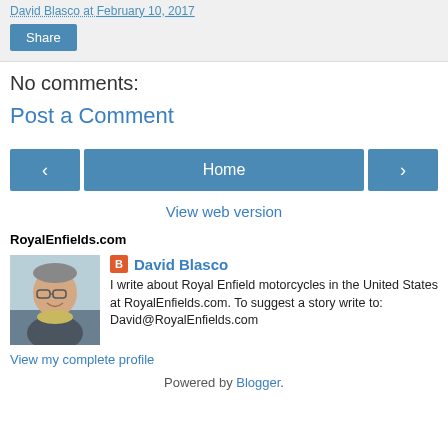David Blasco at February 10, 2017
Share
No comments:
Post a Comment
< Home >
View web version
RoyalEnfields.com
[Figure (photo): Profile photo of David Blasco, a smiling older man with glasses]
David Blasco
I write about Royal Enfield motorcycles in the United States at RoyalEnfields.com. To suggest a story write to: David@RoyalEnfields.com
View my complete profile
Powered by Blogger.